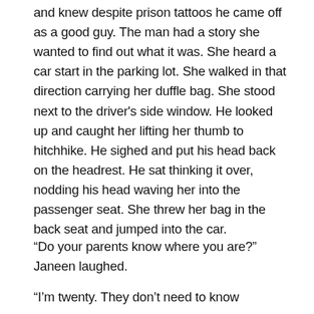and knew despite prison tattoos he came off as a good guy. The man had a story she wanted to find out what it was. She heard a car start in the parking lot. She walked in that direction carrying her duffle bag. She stood next to the driver's side window. He looked up and caught her lifting her thumb to hitchhike. He sighed and put his head back on the headrest. He sat thinking it over, nodding his head waving her into the passenger seat. She threw her bag in the back seat and jumped into the car.
“Do your parents know where you are?” Janeen laughed.
“I’m twenty. They don’t need to know